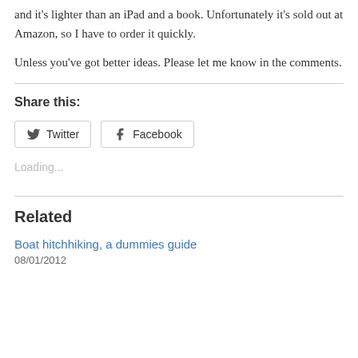and it's lighter than an iPad and a book. Unfortunately it's sold out at Amazon, so I have to order it quickly.
Unless you've got better ideas. Please let me know in the comments.
Share this:
[Figure (other): Twitter and Facebook share buttons]
Loading...
Related
Boat hitchhiking, a dummies guide
08/01/2012